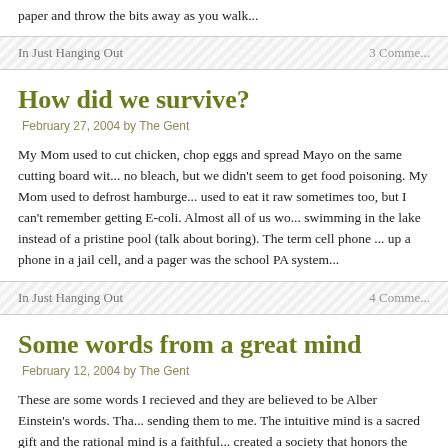paper and throw the bits away as you walk...
In Just Hanging Out	3 Comme...
How did we survive?
February 27, 2004 by The Gent
My Mom used to cut chicken, chop eggs and spread Mayo on the same cutting board wit... no bleach, but we didn't seem to get food poisoning. My Mom used to defrost hamburge... used to eat it raw sometimes too, but I can't remember getting E-coli. Almost all of us wo... swimming in the lake instead of a pristine pool (talk about boring). The term cell phone ... up a phone in a jail cell, and a pager was the school PA system...
In Just Hanging Out	4 Comme...
Some words from a great mind
February 12, 2004 by The Gent
These are some words I recieved and they are believed to be Alber Einstein's words. Tha... sending them to me. The intuitive mind is a sacred gift and the rational mind is a faithful... created a society that honors the servant and has forgotten the gift. Isn't it strange that I w... unpopular books should be such a popular fellow? Not everything that can be counted co... everything that counts can be counted. Any intelligent fool...